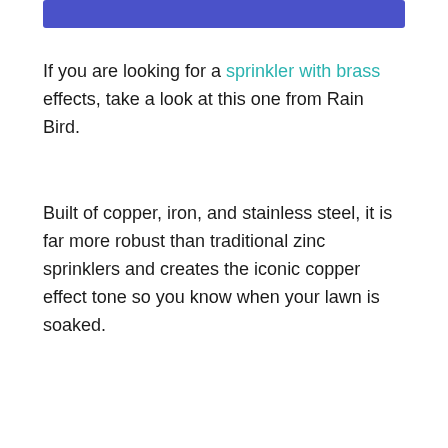[Figure (other): Blue horizontal bar at top of page]
If you are looking for a sprinkler with brass effects, take a look at this one from Rain Bird.
Built of copper, iron, and stainless steel, it is far more robust than traditional zinc sprinklers and creates the iconic copper effect tone so you know when your lawn is soaked.